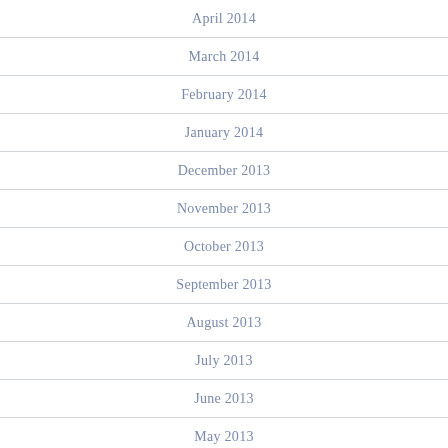April 2014
March 2014
February 2014
January 2014
December 2013
November 2013
October 2013
September 2013
August 2013
July 2013
June 2013
May 2013